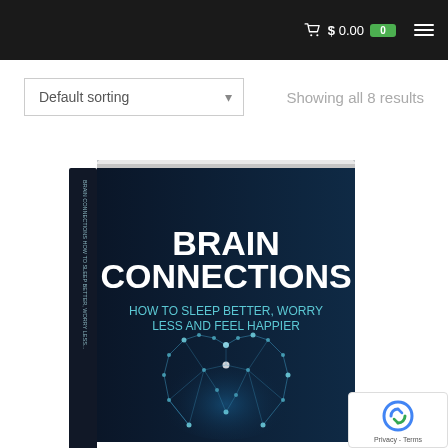$ 0.00   0
Default sorting
Showing all 8 results
[Figure (photo): Book cover for 'Brain Connections: How to Sleep Better, Worry Less and Feel Happier' — dark navy 3D book with glowing neural network brain illustration]
[Figure (logo): reCAPTCHA logo with Privacy - Terms text]